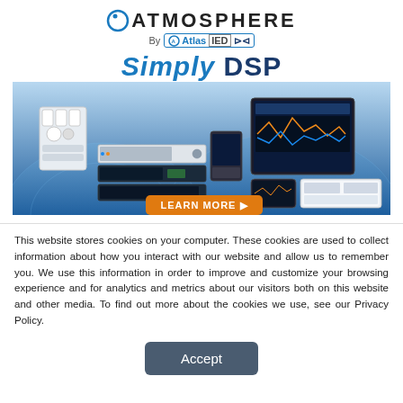[Figure (illustration): Atmosphere by Atlas IED Simply DSP advertisement banner showing DSP hardware products, control panels, software interfaces, and a Learn More button]
This website stores cookies on your computer. These cookies are used to collect information about how you interact with our website and allow us to remember you. We use this information in order to improve and customize your browsing experience and for analytics and metrics about our visitors both on this website and other media. To find out more about the cookies we use, see our Privacy Policy.
Accept